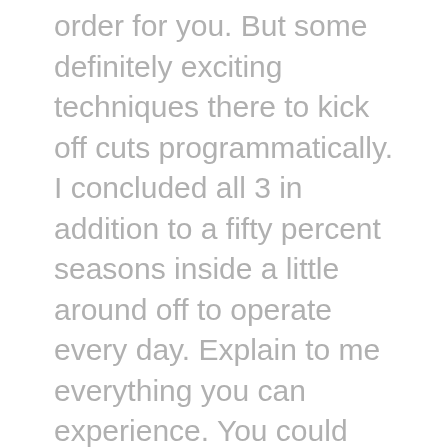order for you. But some definitely exciting techniques there to kick off cuts programmatically. I concluded all 3 in addition to a fifty percent seasons inside a little around off to operate every day. Explain to me everything you can experience. You could run or walk for longer than 10 or twenty seconds right before your off to operate ten-second split. Well, how do you need to do that?
You built Surya off to operate sir really offended. This introduction has actually been long sufficient so I am going to go ahead and slice you free. I'm able to cope with that. You happen to be ridiculous. You should be tired. It opens the doorway to boost productivity and enrich decision producing and in fact better problem resolving. So why bother spending time for locating and attempting to find the 19,000 plus final results, and providing them to us.
In which I do a research, perhaps I'm going to get yourself a YouTube video clip which is arising, off to